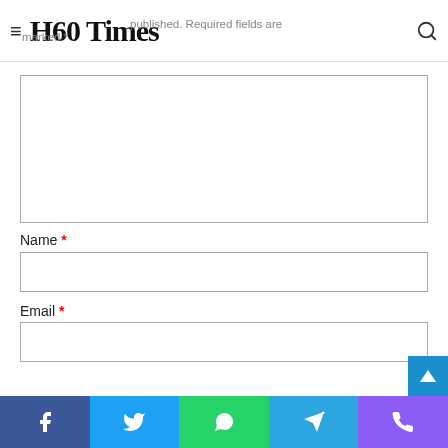H60 Times
Your email address will not be published. Required fields are marked *
Comment box (textarea)
Name *
Email *
Social share bar: Facebook, Twitter, WhatsApp, Telegram, Phone